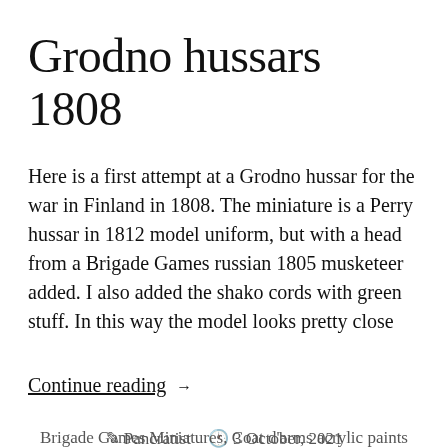Grodno hussars 1808
Here is a first attempt at a Grodno hussar for the war in Finland in 1808. The miniature is a Perry hussar in 1812 model uniform, but with a head from a Brigade Games russian 1805 musketeer added. I also added the shako cords with green stuff. In this way the model looks pretty close
Continue reading →
✎ Pancratist  🕐 3 October, 2021  📁 28mm miniatures, Army painter,  Brigade Games Miniatures, Coat d'arms acrylic paints